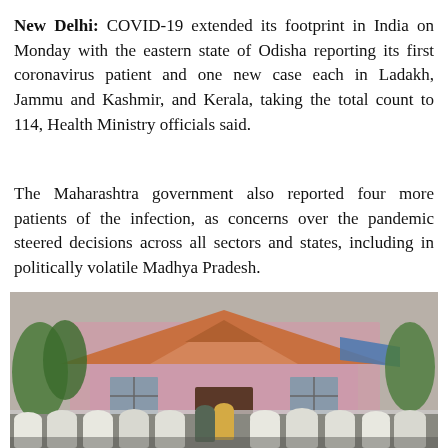New Delhi: COVID-19 extended its footprint in India on Monday with the eastern state of Odisha reporting its first coronavirus patient and one new case each in Ladakh, Jammu and Kashmir, and Kerala, taking the total count to 114, Health Ministry officials said.
The Maharashtra government also reported four more patients of the infection, as concerns over the pandemic steered decisions across all sectors and states, including in politically volatile Madhya Pradesh.
[Figure (photo): A group of people in white protective suits/PPE gear gathered in front of a pink house with a tiled roof, apparently health workers at a COVID-19 related site visit.]